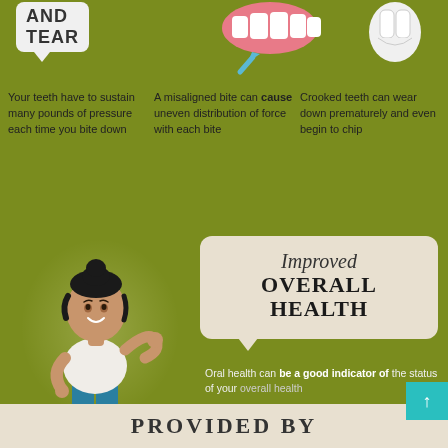AND TEAR
Your teeth have to sustain many pounds of pressure each time you bite down
A misaligned bite can cause uneven distribution of force with each bite
Crooked teeth can wear down prematurely and even begin to chip
[Figure (illustration): Illustration of a cartoon woman flexing her arm, wearing a white top and teal jeans]
Improved Overall Health
Oral health can be a good indicator of the status of your overall health
Inflammation from gum disease has been linked to other conditions like diabetes and heart disease
A proper bite lets you chew better, potentially reducing gastrointestinal problems
PROVIDED BY